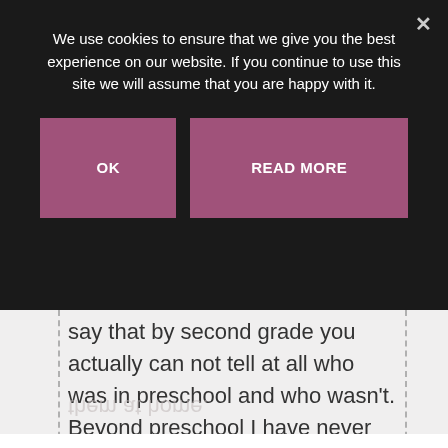We use cookies to ensure that we give you the best experience on our website. If you continue to use this site we will assume that you are happy with it.
[Figure (screenshot): Cookie consent banner with two buttons: OK and READ MORE, on a dark background overlay]
say that by second grade you actually can not tell at all who was in preschool and who wasn't. Beyond preschool I have never homeschooled our children. Several reasons (and I won't go into them) but there are still days that I want to pull them out of public school and teach them at home.